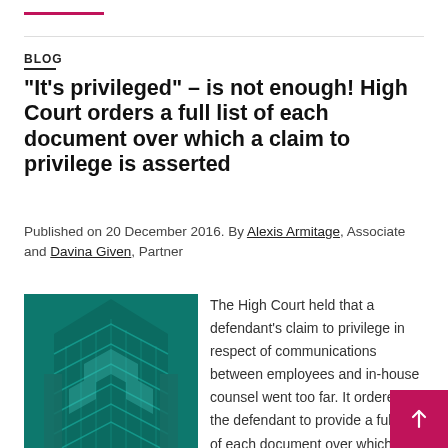BLOG
"It's privileged" – is not enough! High Court orders a full list of each document over which a claim to privilege is asserted
Published on 20 December 2016. By Alexis Armitage, Associate and Davina Given, Partner
[Figure (photo): Teal-tinted photo of a modern glass skyscraper viewed from below, showing angular geometric facade with chevron patterns.]
The High Court held that a defendant's claim to privilege in respect of communications between employees and in-house counsel went too far. It ordered the defendant to provide a full list of each document over which the defendant asserted a claim to privilege, together with an